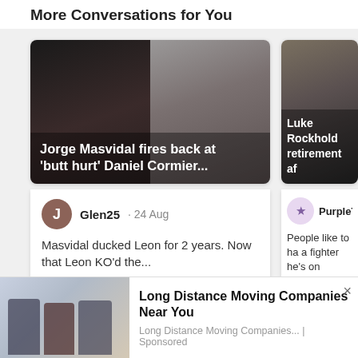More Conversations for You
[Figure (photo): Left article card image showing two people: a man with long dark hair and beard on the left, and a bald Black man on the right, with article title overlay]
Jorge Masvidal fires back at 'butt hurt' Daniel Cormier...
Glen25 · 24 Aug
Masvidal ducked Leon for 2 years. Now that Leon KO'd the...
🔥 Top Comment   👍 16
[Figure (photo): Right partial article card image showing a fighter with sweat/blood on face, UFC branding visible]
Luke Rockhold retirement af
PurpleTur
People like to ha a fighter he's on
🔥 Top Commen
[Figure (photo): Advertisement image showing movers/people with moving equipment]
Long Distance Moving Companies Near You
Long Distance Moving Companies... | Sponsored